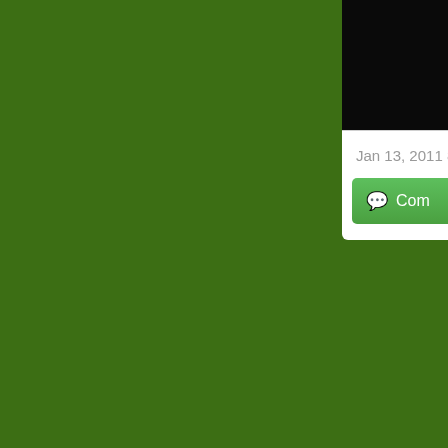[Figure (screenshot): Dark green background occupying the left ~74% of the visible page area]
[Figure (screenshot): Partial white UI card in top-right showing a dark image, a horizontal rule, a date 'Jan 13, 2011 8:39:0...' in gray, and a green comment button labeled 'Com...']
Jan 13, 2011 8:39:0
Com
[Figure (screenshot): Partial white UI card in lower-right showing a blue bold heading 'What stori...' and below it a black image with white bold text '"St... d...']
What stori
“St d